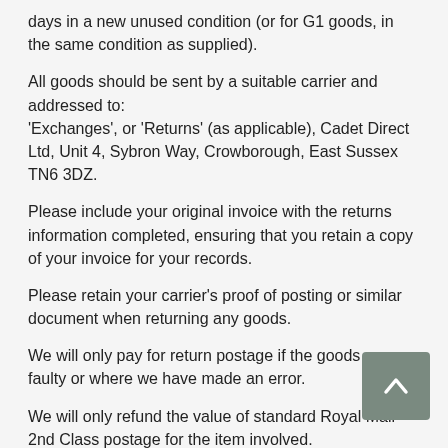days in a new unused condition (or for G1 goods, in the same condition as supplied).
All goods should be sent by a suitable carrier and addressed to:
'Exchanges', or 'Returns' (as applicable), Cadet Direct Ltd, Unit 4, Sybron Way, Crowborough, East Sussex TN6 3DZ.
Please include your original invoice with the returns information completed, ensuring that you retain a copy of your invoice for your records.
Please retain your carrier's proof of posting or similar document when returning any goods.
We will only pay for return postage if the goods are faulty or where we have made an error.
We will only refund the value of standard Royal Mail 2nd Class postage for the item involved.
If the error affects a large or heavy item, we will arrange a pre-paid label.